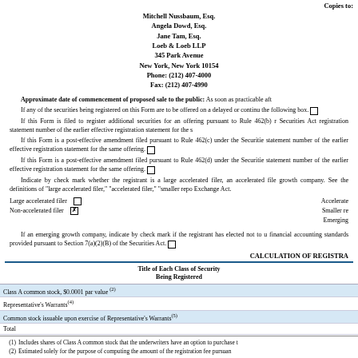Copies to:
Mitchell Nussbaum, Esq.
Angela Dowd, Esq.
Jane Tam, Esq.
Loeb & Loeb LLP
345 Park Avenue
New York, New York 10154
Phone: (212) 407-4000
Fax: (212) 407-4990
Approximate date of commencement of proposed sale to the public: As soon as practicable aft...
If any of the securities being registered on this Form are to be offered on a delayed or conti... the following box. ☐
If this Form is filed to register additional securities for an offering pursuant to Rule 462(b)... Securities Act registration statement number of the earlier effective registration statement for the s...
If this Form is a post-effective amendment filed pursuant to Rule 462(c) under the Securitie... statement number of the earlier effective registration statement for the same offering. ☐
If this Form is a post-effective amendment filed pursuant to Rule 462(d) under the Securitie... statement number of the earlier effective registration statement for the same offering. ☐
Indicate by check mark whether the registrant is a large accelerated filer, an accelerated file... growth company. See the definitions of "large accelerated filer," "accelerated filer," "smaller repo... Exchange Act.
Large accelerated filer ☐   Accelerated...
Non-accelerated filer ☒   Smaller re...
   Emerging...
If an emerging growth company, indicate by check mark if the registrant has elected not to u... financial accounting standards provided pursuant to Section 7(a)(2)(B) of the Securities Act. ☐
CALCULATION OF REGISTRA...
| Title of Each Class of Security
Being Registered |
| --- |
| Class A common stock, $0.0001 par value (2) |
| Representative's Warrants(4) |
| Common stock issuable upon exercise of Representative's Warrants(5) |
| Total |
(1) Includes shares of Class A common stock that the underwriters have an option to purchase t...
(2) Estimated solely for the purpose of computing the amount of the registration fee pursuan...